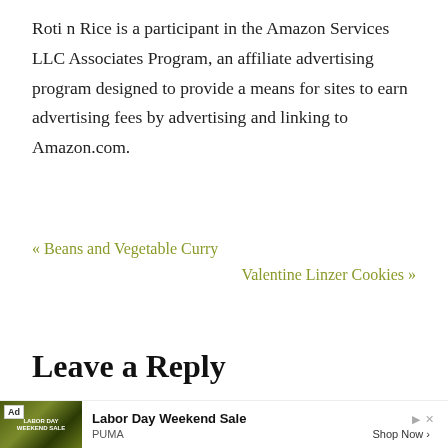Roti n Rice is a participant in the Amazon Services LLC Associates Program, an affiliate advertising program designed to provide a means for sites to earn advertising fees by advertising and linking to Amazon.com.
« Beans and Vegetable Curry
Valentine Linzer Cookies »
Leave a Reply
[Figure (other): Advertisement banner: Labor Day Weekend Sale by PUMA with Shop Now button]